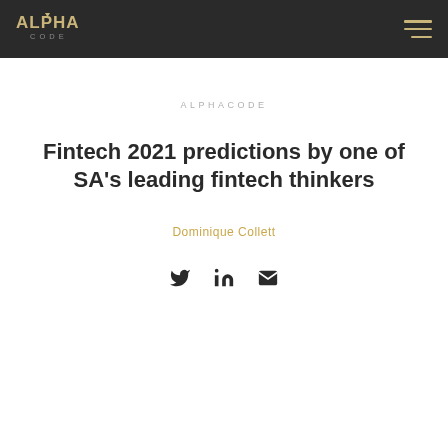ALPHACODE
ALPHACODE
Fintech 2021 predictions by one of SA's leading fintech thinkers
Dominique Collett
[Figure (other): Social share icons: Twitter, LinkedIn, Email]